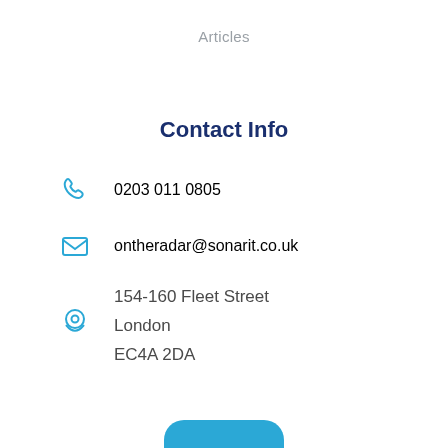Articles
Contact Info
0203 011 0805
ontheradar@sonarit.co.uk
154-160 Fleet Street
London
EC4A 2DA